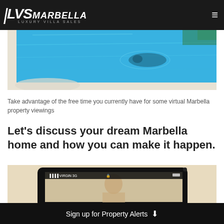LVS MARBELLA LUXURY VILLA SALES
[Figure (photo): Aerial view of a large blue outdoor swimming pool with a person swimming, surrounded by white pool edges and greenery.]
Take advantage of the free time you currently have for some virtual Marbella property viewings
Let's discuss your dream Marbella home and how you can make it happen.
[Figure (photo): Close-up of a tablet/iPad being held, showing Virgin 3G signal, with a person visible on the screen, suggesting a video call or virtual viewing.]
Sign up for Property Alerts ↓